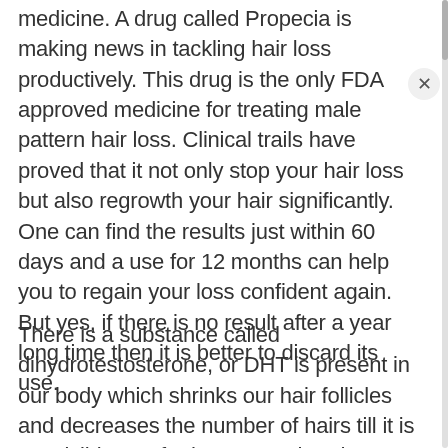medicine. A drug called Propecia is making news in tackling hair loss productively. This drug is the only FDA approved medicine for treating male pattern hair loss. Clinical trails have proved that it not only stop your hair loss but also regrowth your hair significantly. One can find the results just within 60 days and a use for 12 months can help you to regain your loss confident again. But yes, if there is no result after a year long time then it is better to discard its use.
There is a substance called dihydrotestosterone, or DHT is present in our body which shrinks our hair follicles and decreases the number of hairs till it is not visible any further. Now what does this Propecia do, it target the key cause for hair loss by reducing the amount of DHT